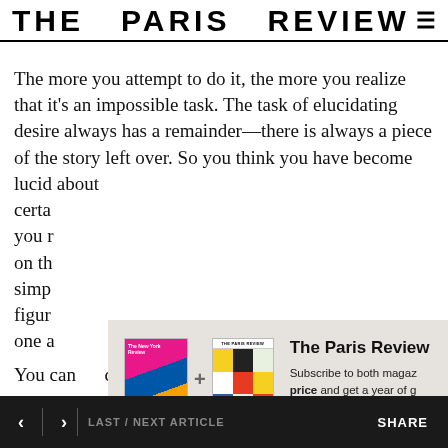THE PARIS REVIEW
The more you attempt to do it, the more you realize that it's an impossible task. The task of elucidating desire always has a remainder—there is always a piece of the story left over. So you think you have become lucid abou[t...] certa[in...] you r[...] on th[...] simp[...] figur[...] one a[...]
[Figure (screenshot): Subscription modal overlay with The New York Review of Books and The Paris Review magazine covers, a plus sign between them, headline 'The Paris Review', subscription text, and a blue 'Subscribe Now' button]
You can complete before it...
< > LAST / NEXT ARTICLE    SHARE